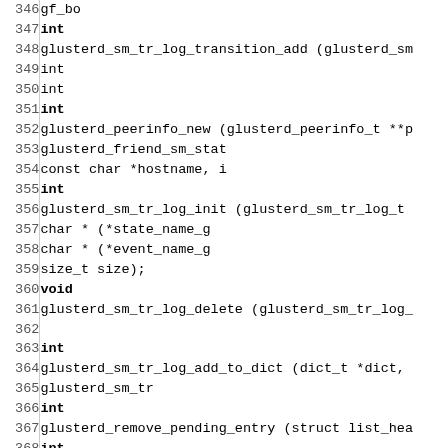Code listing lines 346-375 showing C function declarations for glusterd functions including glusterd_sm_tr_log_transition_add, glusterd_peerinfo_new, glusterd_sm_tr_log_init, glusterd_sm_tr_log_delete, glusterd_sm_tr_log_add_to_dict, glusterd_remove_pending_entry, glusterd_clear_pending_nodes, glusterd_peerinfo_is_uuid_unknown, glusterd_brick_connect